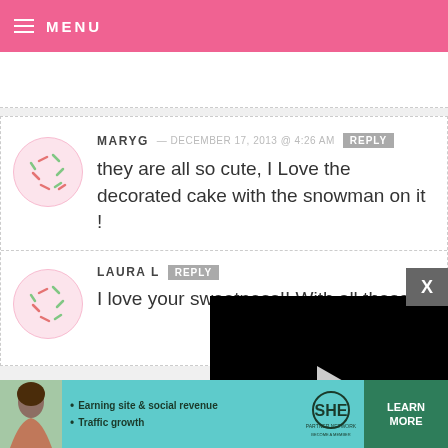MENU
MARYG — DECEMBER 17, 2013 @ 4:26 AM  REPLY
they are all so cute, I Love the decorated cake with the snowman on it !
LAURA L  REPLY
I love your sweetness!! With all these
[Figure (screenshot): Video player overlay showing a black video player with play button, progress bar, and controls showing 13:52 timestamp]
[Figure (infographic): Advertisement banner for SHE Partner Network with teal background, bullet points for Earning site & social revenue and Traffic growth, SHE logo, and Learn More button]